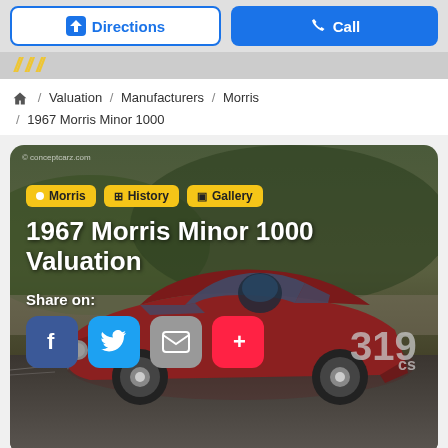Directions | Call
/ Valuation / Manufacturers / Morris / 1967 Morris Minor 1000
[Figure (photo): 1967 Morris Minor 1000 racing car (number 319 CS) in dark red/maroon color speeding on a track, photographed from the side. Overlaid with yellow tag pills: Morris, History, Gallery. Large white bold title text: 1967 Morris Minor 1000 Valuation. Share on: with Facebook, Twitter, Email, and More social buttons. Watermark: © conceptcarz.com]
1967 Morris Minor 1000 Valuation